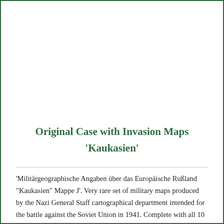Original Case with Invasion Maps 'Kaukasien'
'Militärgeographische Angaben über das Europäische Rußland "Kaukasien" Mappe J'. Very rare set of military maps produced by the Nazi General Staff cartographical department intended for the battle against the Soviet Union in 1941. Complete with all 10 maps. Rare original set!